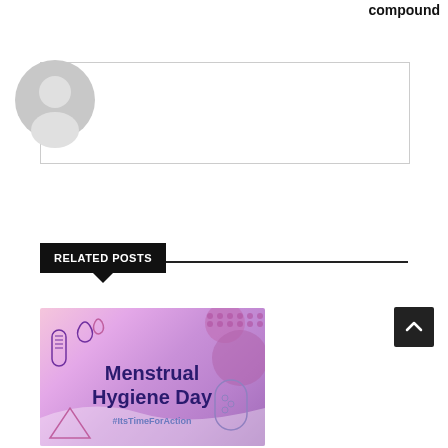compound
[Figure (illustration): Author avatar placeholder - grey circle with person silhouette]
Reporter
RELATED POSTS
[Figure (illustration): Menstrual Hygiene Day banner image with purple/pink gradient background, icons of menstrual products, text: Menstrual Hygiene Day #ItsTimeForAction]